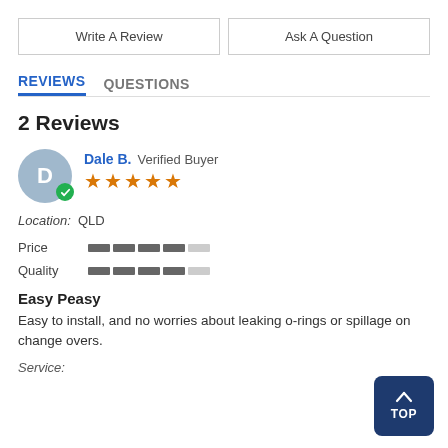Write A Review
Ask A Question
REVIEWS   QUESTIONS
2 Reviews
Dale B. Verified Buyer ★★★★★ Location: QLD
Price [bar rating ~4/5] Quality [bar rating ~4/5]
Easy Peasy
Easy to install, and no worries about leaking o-rings or spillage on change overs.
Service: